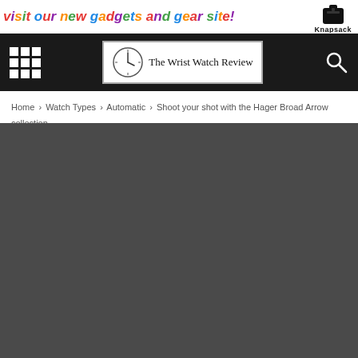[Figure (logo): Top banner with colorful 'visit our new gadgets and gear site!' text and Knapsack logo on the right]
[Figure (logo): Navigation bar with grid/menu icon on left, 'The Wrist Watch Review' logo with clock icon in center, search icon on right]
Home › Watch Types › Automatic › Shoot your shot with the Hager Broad Arrow collection
[Figure (other): Dark grey content area placeholder]